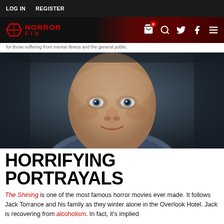LOG IN   REGISTER
[Figure (logo): Horror Fix website logo with red text on dark background with navigation icons (cart, search, twitter, facebook, menu)]
for those suffering from mental illness and the general public.
[Figure (photo): Close-up portrait of an older man with a slight sinister smile, likely depicting Hannibal Lecter character from a horror film, dark blue-grey background]
HORRIFYING PORTRAYALS
The Shining is one of the most famous horror movies ever made. It follows Jack Torrance and his family as they winter alone in the Overlook Hotel. Jack is recovering from alcoholism. In fact, it's implied